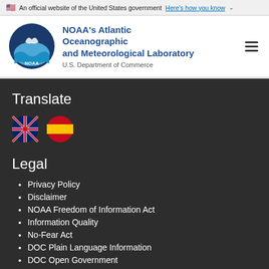An official website of the United States government Here's how you know
[Figure (logo): NOAA circular logo with blue background, white bird and wave design]
NOAA's Atlantic Oceanographic and Meteorological Laboratory
U.S. Department of Commerce
Translate
[Figure (illustration): UK flag circle icon and Spanish flag circle icon for language selection]
Legal
Privacy Policy
Disclaimer
NOAA Freedom of Information Act
Information Quality
No-Fear Act
DOC Plain Language Information
DOC Open Government